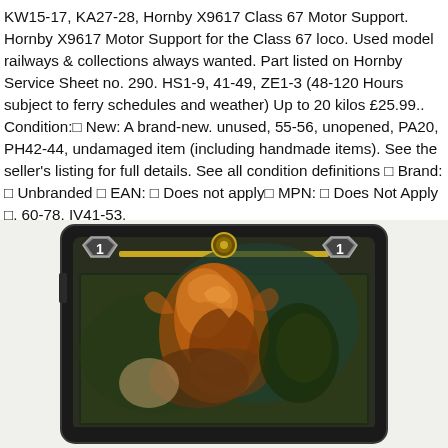KW15-17, KA27-28, Hornby X9617 Class 67 Motor Support. Hornby X9617 Motor Support for the Class 67 loco. Used model railways & collections always wanted. Part listed on Hornby Service Sheet no. 290. HS1-9, 41-49, ZE1-3 (48-120 Hours subject to ferry schedules and weather) Up to 20 kilos £25.99.. Condition:□ New: A brand-new. unused, 55-56, unopened, PA20, PH42-44, undamaged item (including handmade items). See the seller's listing for full details. See all condition definitions □ Brand: □ Unbranded □ EAN: □ Does not apply□ MPN: □ Does Not Apply □. 60-78, IV41-53.
[Figure (photo): A trading card game card with dark border, showing a fantasy/battle scene illustration of a warrior character riding or fighting with creatures. The card has a yellow/gold bar at top, two shield-shaped icons on left and right showing the number 1, and a circular gold emblem in the center top.]